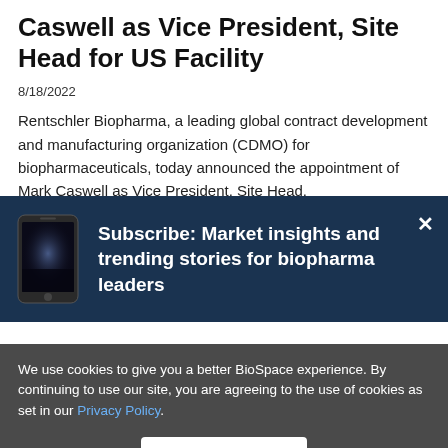Caswell as Vice President, Site Head for US Facility
8/18/2022
Rentschler Biopharma, a leading global contract development and manufacturing organization (CDMO) for biopharmaceuticals, today announced the appointment of Mark Caswell as Vice President, Site Head.
[Figure (infographic): Subscribe modal with dark navy background. Left side shows a phone/tablet device graphic. Right side shows bold white text: 'Subscribe: Market insights and trending stories for biopharma leaders'. An X close button is in the top-right corner.]
We use cookies to give you a better BioSpace experience. By continuing to use our site, you are agreeing to the use of cookies as set in our Privacy Policy.
Accept